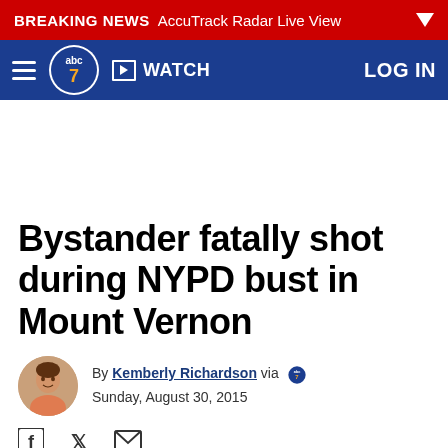BREAKING NEWS AccuTrack Radar Live View
abc7 WATCH LOG IN
Bystander fatally shot during NYPD bust in Mount Vernon
By Kemberly Richardson via abc7 Sunday, August 30, 2015
[Figure (illustration): Social sharing icons: Facebook, Twitter, Email]